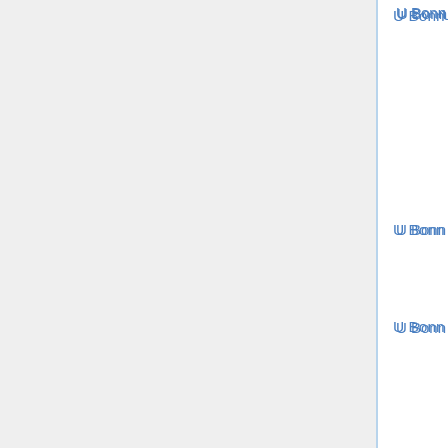| Institution | Field | Date |
| --- | --- | --- |
| U Bonn | all math (W2) (several) | Nov 20, 20… |
| U Bonn | sci comp/simul (W2) | Sep 15, 20… |
| U Bonn | discrete opt (W1/tt) | Jan 5, 201… |
| U Bonn | applied (W3) | Jan 31, 20… |
| TU Braunschweig | appl anal (W3) | Apr 30, 20… |
| U Bremen | analysis (W2) | Mar 20, 20… |
| TU Chemnitz | Fourier anal (W1) | Aug 21, 20… |
| U Cologne | applied (W2) | Oct 31, 20… |